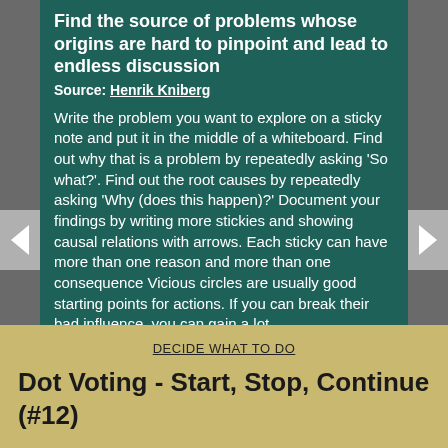Find the source of problems whose origins are hard to pinpoint and lead to endless discussion
Source: Henrik Kniberg
Write the problem you want to explore on a sticky note and put it in the middle of a whiteboard. Find out why that is a problem by repeatedly asking ‘So what?’. Find out the root causes by repeatedly asking ‘Why (does this happen)?’ Document your findings by writing more stickies and showing causal relations with arrows. Each sticky can have more than one reason and more than one consequence Vicious circles are usually good starting points for actions. If you can break their bad influence, you can gain a lot.
DECIDE WHAT TO DO
Dot Voting - Start, Stop, Continue (#12)